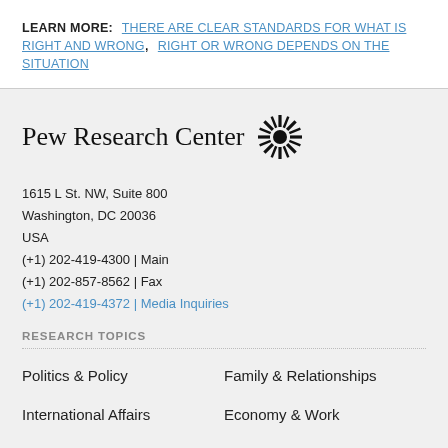LEARN MORE: THERE ARE CLEAR STANDARDS FOR WHAT IS RIGHT AND WRONG, RIGHT OR WRONG DEPENDS ON THE SITUATION
[Figure (logo): Pew Research Center logo with sunburst icon]
1615 L St. NW, Suite 800
Washington, DC 20036
USA
(+1) 202-419-4300 | Main
(+1) 202-857-8562 | Fax
(+1) 202-419-4372 | Media Inquiries
RESEARCH TOPICS
Politics & Policy
Family & Relationships
International Affairs
Economy & Work
Immigration & Migration
Science